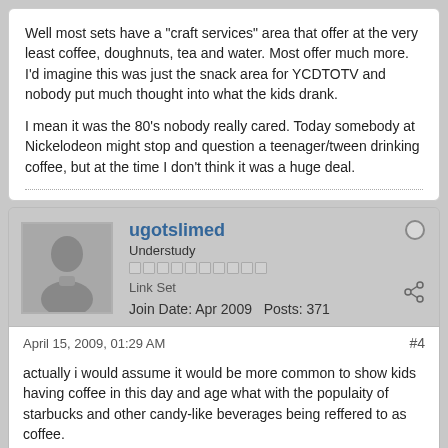Well most sets have a "craft services" area that offer at the very least coffee, doughnuts, tea and water. Most offer much more. I'd imagine this was just the snack area for YCDTOTV and nobody put much thought into what the kids drank.

I mean it was the 80's nobody really cared. Today somebody at Nickelodeon might stop and question a teenager/tween drinking coffee, but at the time I don't think it was a huge deal.
ugotslimed
Understudy
Link Set
Join Date: Apr 2009   Posts: 371
April 15, 2009, 01:29 AM
#4
actually i would assume it would be more common to show kids having coffee in this day and age what with the populaity of starbucks and other candy-like beverages being reffered to as coffee.
It felt like back in the pre-starbucks 1980's no kids drank coffee and you didn't start untill you were like 25 or something. now I think it's more common.